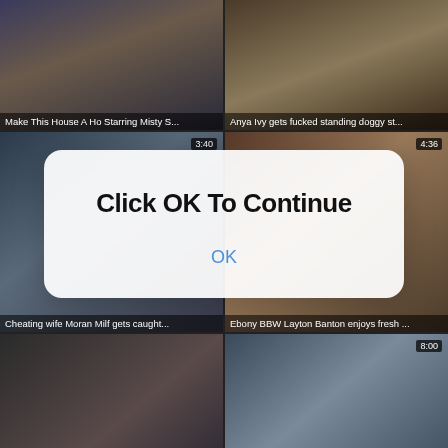[Figure (screenshot): Video thumbnail grid showing adult video website with multiple video thumbnails, overlaid by a modal dialog]
Make This House A Ho Starring Misty S...
Anya Ivy gets fucked standing doggy st...
3:40
4:36
Cheating wife Moran Milf gets caught...
Ebony BBW Layton Banton enjoys fresh ...
8:00
Ebony babe Chanel Skye has a fresh lo...
Brazzers HD: Brazzers Porn School Sta...
5:06
3:16
Click OK To Continue
OK